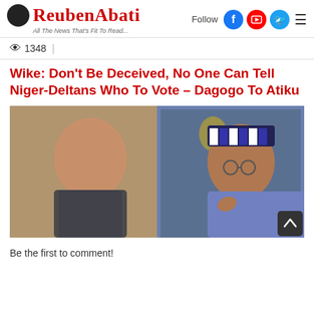ReubenAbati — All The News That's Fit To Read...
👁 1348
Wike: Don't Be Deceived, No One Can Tell Niger-Deltans Who To Vote – Dagogo To Atiku
[Figure (photo): Two men side by side: man on left in dark patterned jacket, man on right in blue top wearing a striped cap, seated in an ornate chair]
Be the first to comment!